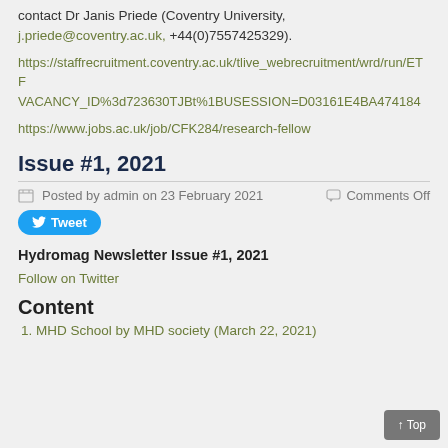contact Dr Janis Priede (Coventry University, j.priede@coventry.ac.uk, +44(0)7557425329).
https://staffrecruitment.coventry.ac.uk/tlive_webrecruitment/wrd/run/ETF VACANCY_ID%3d723630TJBt%1BUSESSION=D03161E4BA4741849
https://www.jobs.ac.uk/job/CFK284/research-fellow
Issue #1, 2021
Posted by admin on 23 February 2021    Comments Off
[Figure (other): Tweet button with Twitter bird icon]
Hydromag Newsletter Issue #1, 2021
Follow on Twitter
Content
MHD School by MHD society (March 22, 2021)